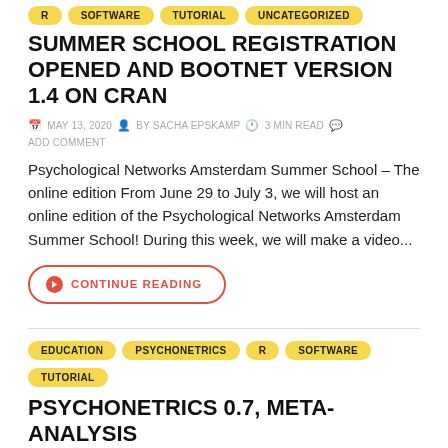R
SOFTWARE
TUTORIAL
UNCATEGORIZED
SUMMER SCHOOL REGISTRATION OPENED AND BOOTNET VERSION 1.4 ON CRAN
MAY 13, 2020  BY SACHA EPSKAMP  3 MIN READ  ADD COMMENT
Psychological Networks Amsterdam Summer School – The online edition From June 29 to July 3, we will host an online edition of the Psychological Networks Amsterdam Summer School! During this week, we will make a video...
CONTINUE READING
EDUCATION
PSYCHONETRICS
R
SOFTWARE
TUTORIAL
PSYCHONETRICS 0.7, META-ANALYSIS PREPRINT AND ONLINE SEM COURSE